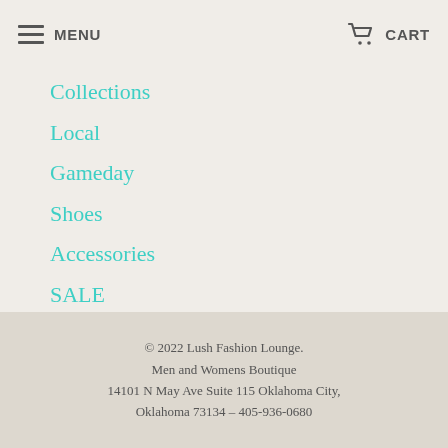MENU  CART
Collections
Local
Gameday
Shoes
Accessories
SALE
Gift Card
Wishlist
© 2022 Lush Fashion Lounge. Men and Womens Boutique 14101 N May Ave Suite 115 Oklahoma City, Oklahoma 73134 – 405-936-0680